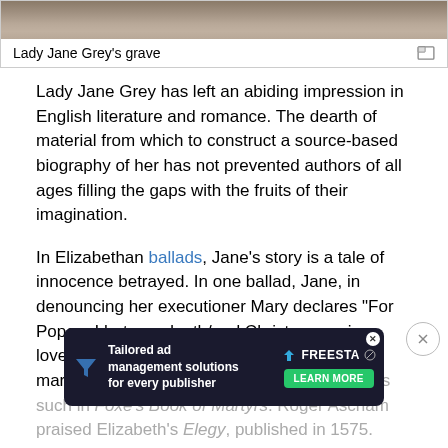[Figure (photo): Top portion of a photo showing Lady Jane Grey's grave, stone/textured surface visible]
Lady Jane Grey's grave
Lady Jane Grey has left an abiding impression in English literature and romance. The dearth of material from which to construct a source-based biography of her has not prevented authors of all ages filling the gaps with the fruits of their imagination.
In Elizabethan ballads, Jane's story is a tale of innocence betrayed. In one ballad, Jane, in denouncing her executioner Mary declares "For Popery I hate as death/and Christ my savior love." Jane is now not only an innocent, but a martyr to the Protestant cause, and appears as such in Foxe's Book of Martyrs. Roger Ascham praised Elizabeth, and in this cause Elizabeth's Elegy, published in 1575. Here she is peeress in her learning, and her name should be remembered.
[Figure (other): Advertisement overlay: Tailored ad management solutions for every publisher - Freesta, with Learn More button]